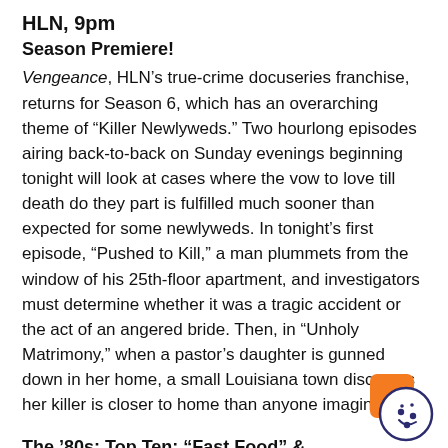HLN, 9pm
Season Premiere!
Vengeance, HLN’s true-crime docuseries franchise, returns for Season 6, which has an overarching theme of “Killer Newlyweds.” Two hourlong episodes airing back-to-back on Sunday evenings beginning tonight will look at cases where the vow to love till death do they part is fulfilled much sooner than expected for some newlyweds. In tonight’s first episode, “Pushed to Kill,” a man plummets from the window of his 25th-floor apartment, and investigators must determine whether it was a tragic accident or the act of an angered bride. Then, in “Unholy Matrimony,” when a pastor’s daughter is gunned down in her home, a small Louisiana town discovers her killer is closer to home than anyone imagined.
The ‘80s: Top Ten: “Fast Food” & “Commercials”
Nat Geo, 9pm
Host Rob Lowe is back with two more hourlong Top 10 countdowns related to 1980s topics. First, in “Commercials,” Lowe runs through the 10 greatest TV ads of the ‘80s as he explores how the global marketing success of MTV owes a nod